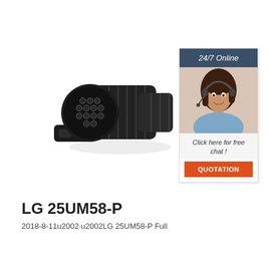[Figure (photo): Black 13-pin trailer connector plug, cylindrical body with ribbed grip, viewed from the pin-face side at an angle, with a mounting bracket/tab at the bottom.]
[Figure (photo): Customer service representative (woman with headset) with 24/7 Online chat widget overlay, dark blue header, orange QUOTATION button, and 'Click here for free chat!' text.]
LG 25UM58-P
2018-8-11u2002·u2002LG 25UM58-P Full